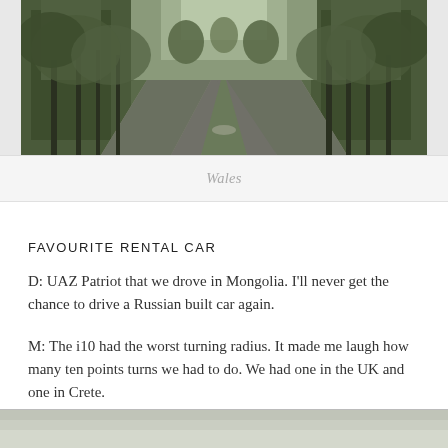[Figure (photo): A narrow country road (two tracks separated by grass) receding into a wooded forest. Bare trees line both sides. Scene appears to be in Wales in autumn or winter.]
Wales
FAVOURITE RENTAL CAR
D: UAZ Patriot that we drove in Mongolia. I'll never get the chance to drive a Russian built car again.
M: The i10 had the worst turning radius. It made me laugh how many ten points turns we had to do. We had one in the UK and one in Crete.
[Figure (photo): Partial view of a second photograph at the bottom of the page, showing a light grey/beige landscape scene.]